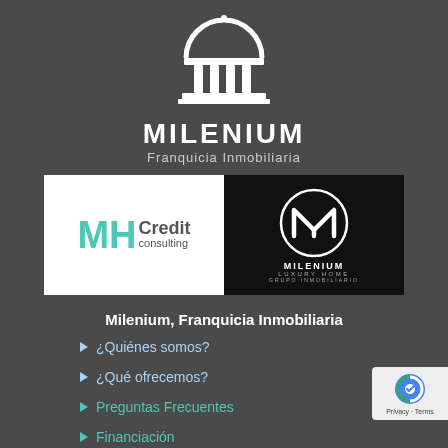[Figure (logo): Milenium Franquicia Inmobiliaria logo — white building/temple icon above stylized MILENIUM text with subtitle 'Franquicia Inmobiliaria']
[Figure (logo): Two partner logos side by side: MH Credit Consulting (white background, teal MH letters) and Milenium Luxury Home Grupo Inmobiliario (black background, circular M logo)]
Milenium, Franquicia Inmobiliaria
¿Quiénes somos?
¿Qué ofrecemos?
Preguntas Frecuentes
Financiación